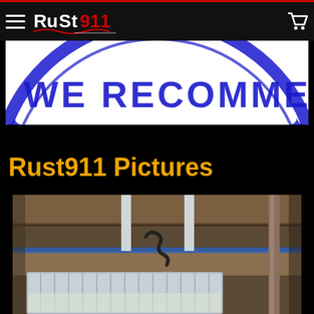Rust911 — Navigation bar with hamburger menu and cart
[Figure (photo): Blue circular stamp graphic partially visible showing text 'WE RECOMME...' on white background]
Rust911 Pictures
[Figure (photo): Photo showing metal parts, a rusted rod or pipe, aluminum trays with liquid, set up in a workshop with wood framing and blue tape visible]